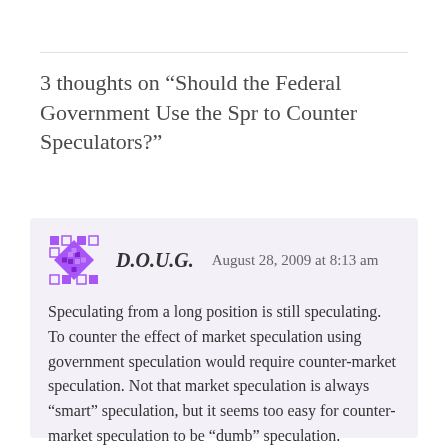3 thoughts on “Should the Federal Government Use the Spr to Counter Speculators?”
D.O.U.G.   August 28, 2009 at 8:13 am
Speculating from a long position is still speculating. To counter the effect of market speculation using government speculation would require counter-market speculation. Not that market speculation is always “smart” speculation, but it seems too easy for counter-market speculation to be “dumb” speculation.